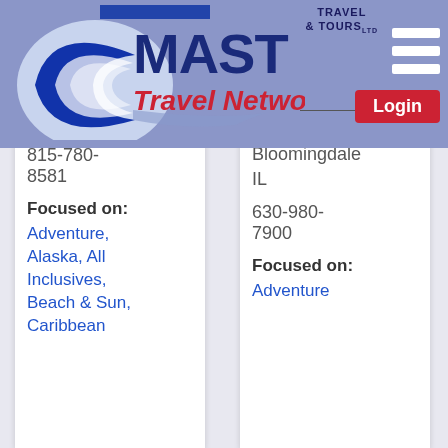[Figure (logo): MAST Travel Network logo with blue crescent arc and red italic text]
[Figure (logo): Classic Travel & Tours Ltd small logo in top right of header]
Login
Travel Connection
Peru
IL
815-780-8581
Focused on: Adventure, Alaska, All Inclusives, Beach & Sun, Caribbean
Classic Travel & Tours
Bloomingdale
IL
630-980-7900
Focused on: Adventure